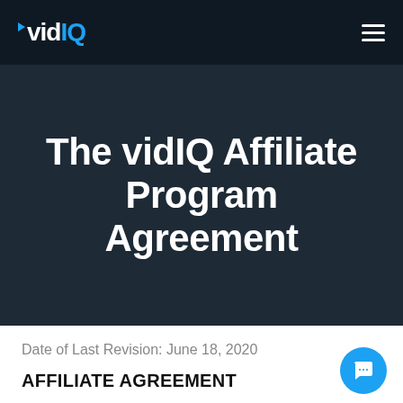vidIQ
The vidIQ Affiliate Program Agreement
Date of Last Revision: June 18, 2020
AFFILIATE AGREEMENT
PLEASE READ THE ENTIRE AGREEMENT YOU MAY PRINT THIS PAGE FOR YOUR